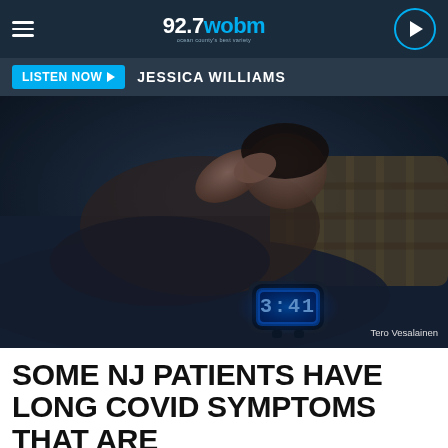92.7 wobm
LISTEN NOW  JESSICA WILLIAMS
[Figure (photo): Person lying in bed in a dark room with hand on head, appearing distressed. A glowing blue digital clock showing 3:41 sits on the bed in the foreground. Plaid pillow visible. Photo credit: Tero Vesalainen]
SOME NJ PATIENTS HAVE LONG COVID SYMPTOMS THAT ARE